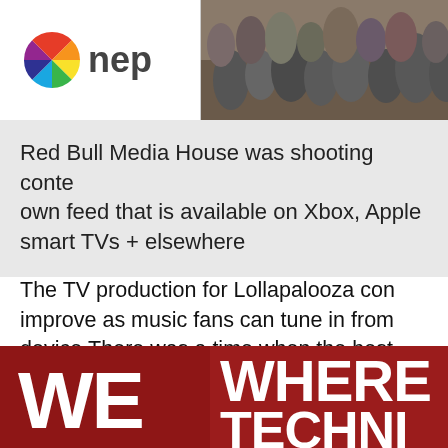[Figure (photo): NEP logo on white background on left; crowd of people at a concert on right]
Red Bull Media House was shooting conte own feed that is available on Xbox, Apple smart TVs + elsewhere
The TV production for Lollapalooza con improve as music fans can tune in from device.There was a time when the best experience a concert festival was to ge spend a couple of days in the mud write Kerschbaumer for LiveTV|LA.
[Figure (photo): Red banner with large white bold text reading WE on left and WHERE / TECHNI on right]